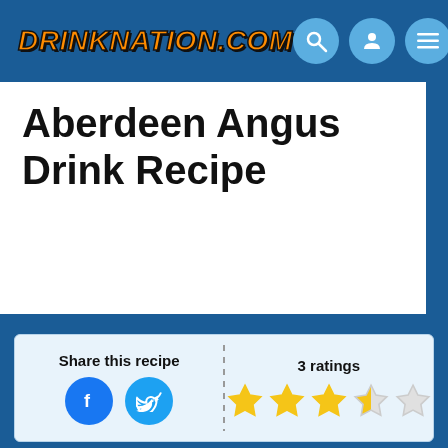DRINKNATION.COM
Aberdeen Angus Drink Recipe
Share this recipe
3 ratings